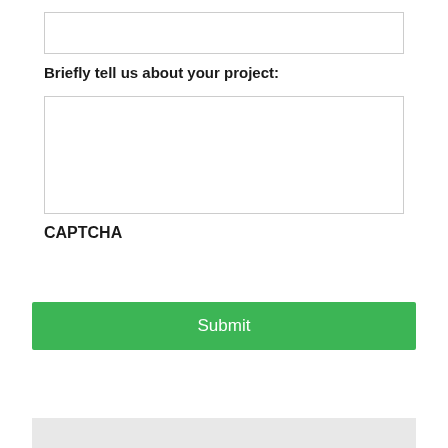[Figure (screenshot): Empty text input field with light gray border]
Briefly tell us about your project:
[Figure (screenshot): Large empty textarea input field with light gray border for project description]
CAPTCHA
[Figure (screenshot): Green Submit button]
[Figure (screenshot): Gray footer bar with partial blue circle icon visible at bottom]